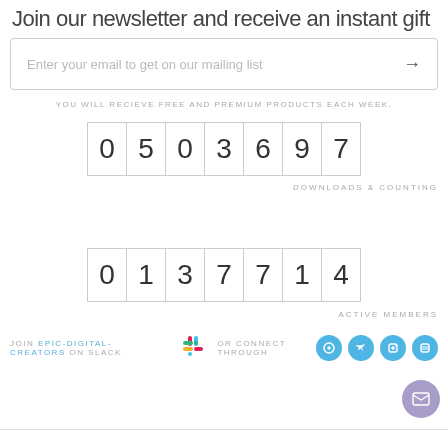Join our newsletter and receive an instant gift
Enter your email to get on our mailing list
YOU WILL RECIEVE FREE AND PREMIUM PRODUCTS EACH WEEK.
0 5 0 3 6 9 7
DOWNLOADS & COUNTING
0 1 3 7 7 1 4
ACTIVE MEMBERS
JOIN EPIC-DIGITAL-CREATORS ON SLACK OR CONNECT THROUGH